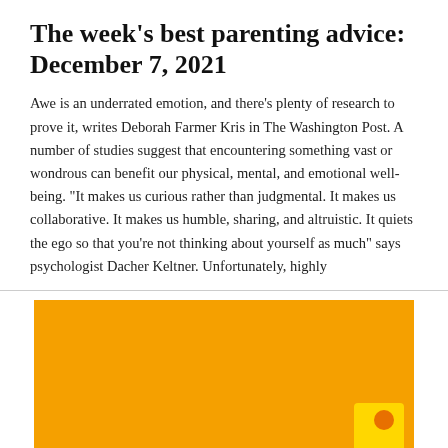The week's best parenting advice: December 7, 2021
Awe is an underrated emotion, and there's plenty of research to prove it, writes Deborah Farmer Kris in The Washington Post. A number of studies suggest that encountering something vast or wondrous can benefit our physical, mental, and emotional well-being. "It makes us curious rather than judgmental. It makes us collaborative. It makes us humble, sharing, and altruistic. It quiets the ego so that you're not thinking about yourself as much" says psychologist Dacher Keltner. Unfortunately, highly
[Figure (photo): An orange/amber background image, partially visible, with a small yellow and orange figure or icon in the bottom right corner.]